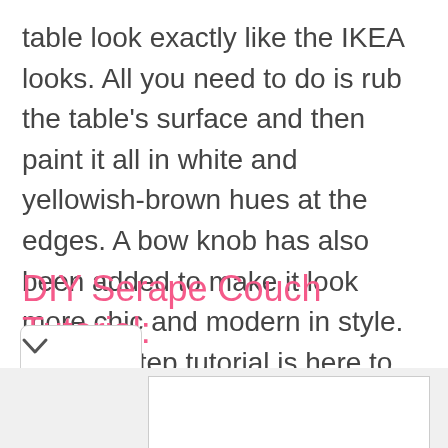table look exactly like the IKEA looks. All you need to do is rub the table's surface and then paint it all in white and yellowish-brown hues at the edges. A bow knob has also been added to make it look more chic and modern in style. Step by step tutorial is here to check out this stunning makeover pinksole
DIY Serape Couch Tutorial:
[Figure (screenshot): Advertisement banner with Lidl logo, checkmark and 'In-store shopping' text, and a blue navigation/directions icon. Below the ad box are a play button icon and a close (X) icon.]